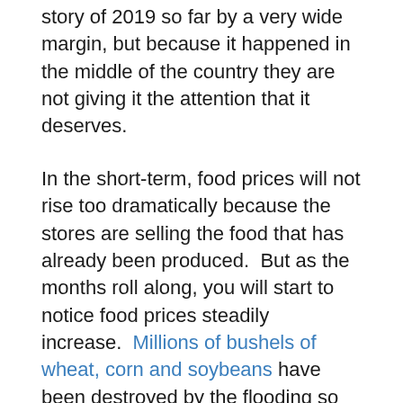story of 2019 so far by a very wide margin, but because it happened in the middle of the country they are not giving it the attention that it deserves.
In the short-term, food prices will not rise too dramatically because the stores are selling the food that has already been produced.  But as the months roll along, you will start to notice food prices steadily increase.  Millions of bushels of wheat, corn and soybeans have been destroyed by the flooding so far, and thousands of farmers will not be able to plant crops at all this year.  And the livestock losses that we have already experienced will be felt for many years to come.
Beef will never be lower in price than it is right